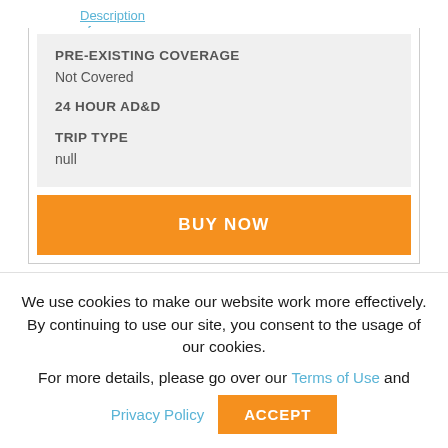Description of Coverage
PRE-EXISTING COVERAGE
Not Covered
24 HOUR AD&D
TRIP TYPE
null
BUY NOW
We use cookies to make our website work more effectively. By continuing to use our site, you consent to the usage of our cookies. For more details, please go over our Terms of Use and
Privacy Policy
ACCEPT